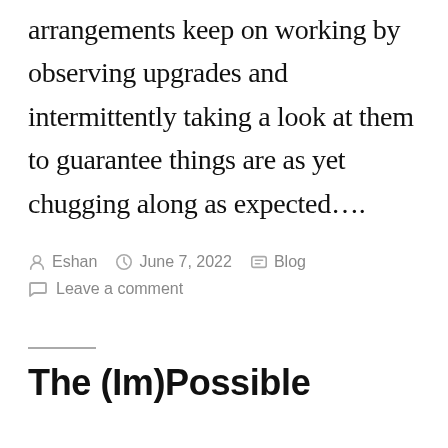arrangements keep on working by observing upgrades and intermittently taking a look at them to guarantee things are as yet chugging along as expected….
By Eshan   June 7, 2022   Blog
Leave a comment
The (Im)Possible